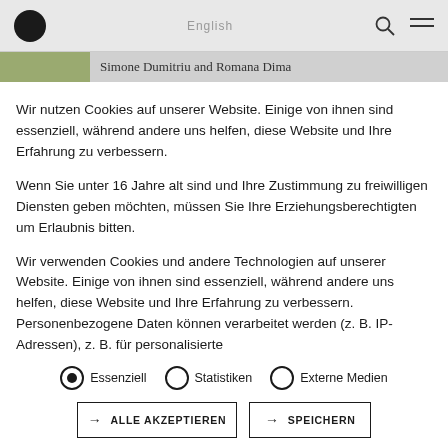English
Wir nutzen Cookies auf unserer Website. Einige von ihnen sind essenziell, während andere uns helfen, diese Website und Ihre Erfahrung zu verbessern.
Wenn Sie unter 16 Jahre alt sind und Ihre Zustimmung zu freiwilligen Diensten geben möchten, müssen Sie Ihre Erziehungsberechtigten um Erlaubnis bitten.
Wir verwenden Cookies und andere Technologien auf unserer Website. Einige von ihnen sind essenziell, während andere uns helfen, diese Website und Ihre Erfahrung zu verbessern. Personenbezogene Daten können verarbeitet werden (z. B. IP-Adressen), z. B. für personalisierte
Essenziell
Statistiken
Externe Medien
ALLE AKZEPTIEREN
SPEICHERN
Individuelle Datenschutzeinstellungen